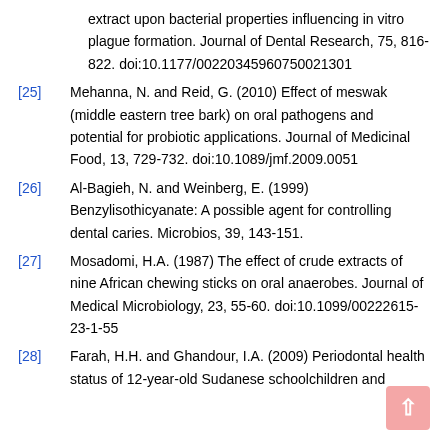extract upon bacterial properties influencing in vitro plague formation. Journal of Dental Research, 75, 816-822. doi:10.1177/00220345960750021301
[25] Mehanna, N. and Reid, G. (2010) Effect of meswak (middle eastern tree bark) on oral pathogens and potential for probiotic applications. Journal of Medicinal Food, 13, 729-732. doi:10.1089/jmf.2009.0051
[26] Al-Bagieh, N. and Weinberg, E. (1999) Benzylisothicyanate: A possible agent for controlling dental caries. Microbios, 39, 143-151.
[27] Mosadomi, H.A. (1987) The effect of crude extracts of nine African chewing sticks on oral anaerobes. Journal of Medical Microbiology, 23, 55-60. doi:10.1099/00222615-23-1-55
[28] Farah, H.H. and Ghandour, I.A. (2009) Periodontal health status of 12-year-old Sudanese schoolchildren and